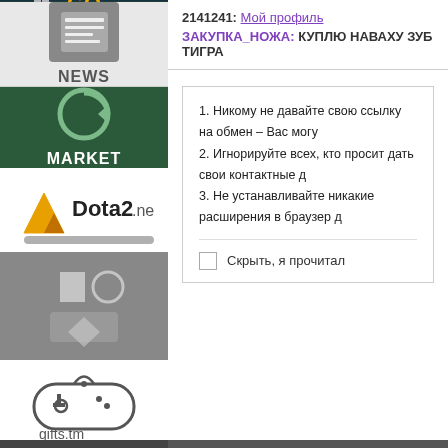[Figure (screenshot): CS:GO logo block - dark background with soldier silhouette and CS:GO text]
[Figure (screenshot): NEWS icon block - gray background with newspaper icon and NEWS label]
[Figure (screenshot): MARKET block - green background with refresh/market icon and MARKET label]
[Figure (screenshot): Dota2.net logo with sword graphic]
[Figure (screenshot): Gray icon block with game icons]
[Figure (screenshot): gifts.tm logo with game controller icon]
2141241: Мой профиль
ЗАКУПКА_НОЖА: КУПЛЮ НАВАХУ ЗУБ ТИГРА
1. Никому не давайте свою ссылку на обмен – Вас могу...
2. Игнорируйте всех, кто просит дать свои контактные д...
3. Не устанавливайте никакие расширения в браузер д...
Скрыть, я прочитал